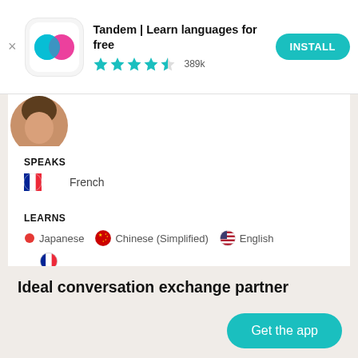[Figure (screenshot): App store ad banner showing Tandem language learning app icon (blue and pink overlapping circles on white rounded square background)]
Tandem | Learn languages for free
★★★★½ 389k
INSTALL
[Figure (photo): Partial circular profile photo thumbnail showing person's head]
SPEAKS
🇫🇷 French
LEARNS
• Japanese  🇨🇳 Chinese (Simplified)  🇺🇸 English
Ideal conversation exchange partner
Everyone who is kind, open-minde...Read more
Get the app